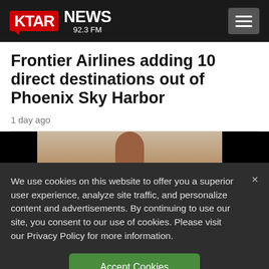KTAR NEWS 92.3 FM
Frontier Airlines adding 10 direct destinations out of Phoenix Sky Harbor
1 day ago
[Figure (photo): Partial photo visible behind cookie banner — person silhouette on beige/tan background, flanked by black bars]
We use cookies on this website to offer you a superior user experience, analyze site traffic, and personalize content and advertisements. By continuing to use our site, you consent to our use of cookies. Please visit our Privacy Policy for more information.
Accept Cookies